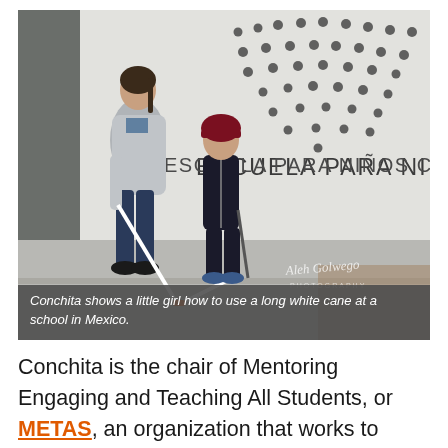[Figure (photo): A woman (Conchita) bends forward showing a little girl how to use a long white cane on a sidewalk. Behind them is a white wall with the text 'ESCUELA PARA NIÑOS CIEGOS' and a Braille dot pattern. A photographer's watermark is visible in lower right.]
Conchita shows a little girl how to use a long white cane at a school in Mexico.
Conchita is the chair of Mentoring Engaging and Teaching All Students, or METAS, an organization that works to spread blindness training and advocacy in Mexico. Conchita and her fellow